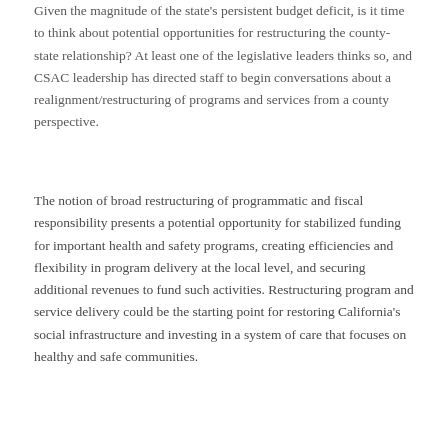Given the magnitude of the state's persistent budget deficit, is it time to think about potential opportunities for restructuring the county-state relationship? At least one of the legislative leaders thinks so, and CSAC leadership has directed staff to begin conversations about a realignment/restructuring of programs and services from a county perspective.
The notion of broad restructuring of programmatic and fiscal responsibility presents a potential opportunity for stabilized funding for important health and safety programs, creating efficiencies and flexibility in program delivery at the local level, and securing additional revenues to fund such activities. Restructuring program and service delivery could be the starting point for restoring California's social infrastructure and investing in a system of care that focuses on healthy and safe communities.